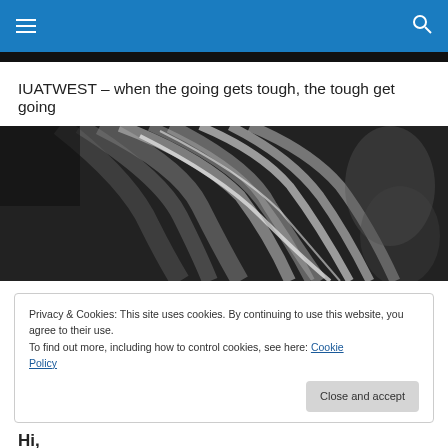IUATWEST navigation bar with hamburger menu and search icon
IUATWEST – when the going gets tough, the tough get going
[Figure (photo): Black and white close-up photograph of a person with flowing hair, possibly at a music or sports event]
Privacy & Cookies: This site uses cookies. By continuing to use this website, you agree to their use.
To find out more, including how to control cookies, see here: Cookie Policy
Close and accept
Hi,